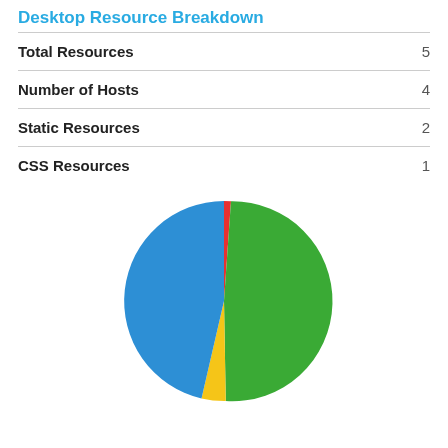Desktop Resource Breakdown
|  |  |
| --- | --- |
| Total Resources | 5 |
| Number of Hosts | 4 |
| Static Resources | 2 |
| CSS Resources | 1 |
[Figure (pie-chart): Pie chart with blue, green, yellow, and red slices representing resource breakdown]